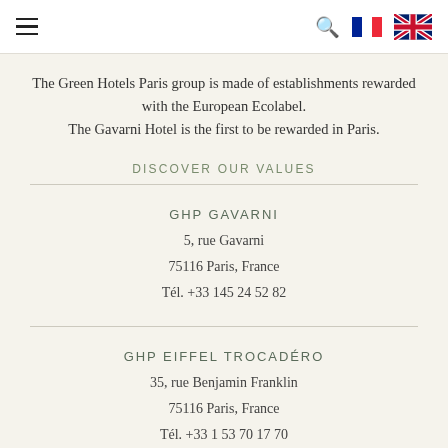Navigation bar with hamburger menu, search icon, French flag, and UK flag
The Green Hotels Paris group is made of establishments rewarded with the European Ecolabel. The Gavarni Hotel is the first to be rewarded in Paris.
DISCOVER OUR VALUES
GHP GAVARNI
5, rue Gavarni
75116 Paris, France
Tél. +33 145 24 52 82
GHP EIFFEL TROCADÉRO
35, rue Benjamin Franklin
75116 Paris, France
Tél. +33 1 53 70 17 70